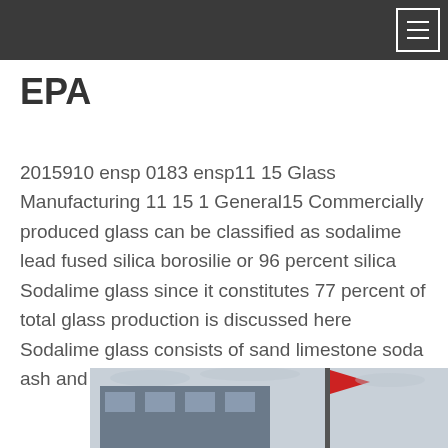EPA
2015910 ensp 0183 ensp11 15 Glass Manufacturing 11 15 1 General15 Commercially produced glass can be classified as sodalime lead fused silica borosilie or 96 percent silica Sodalime glass since it constitutes 77 percent of total glass production is discussed here Sodalime glass consists of sand limestone soda ash and cullet broken glass The…
[Figure (photo): Partial photo of an industrial building with a crane and a red flag, visible at the bottom of the page.]